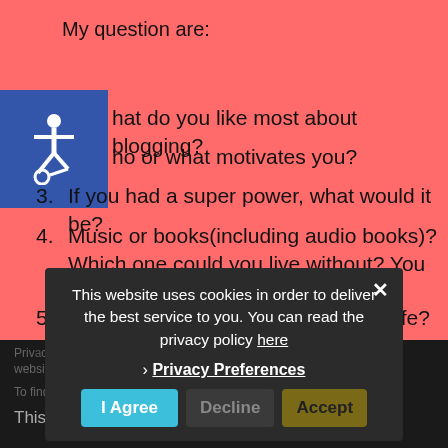My question are:
1. What do you like most about blogging?
2. Who or what motivates you?
3. If you had a super power, what would it be?
4. Music or books(including audio books)? Which one could you live without? You have to pick one.
5. What would is your golden rule for life?
This website uses cookies in order to deliver the best service to you. You can read the privacy policy here
› Privacy Preferences
This website uses cookies
I Agree
Decline
Accept